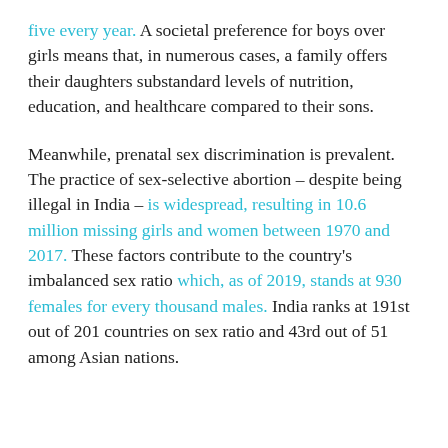five every year. A societal preference for boys over girls means that, in numerous cases, a family offers their daughters substandard levels of nutrition, education, and healthcare compared to their sons.
Meanwhile, prenatal sex discrimination is prevalent. The practice of sex-selective abortion – despite being illegal in India – is widespread, resulting in 10.6 million missing girls and women between 1970 and 2017. These factors contribute to the country's imbalanced sex ratio which, as of 2019, stands at 930 females for every thousand males. India ranks at 191st out of 201 countries on sex ratio and 43rd out of 51 among Asian nations.